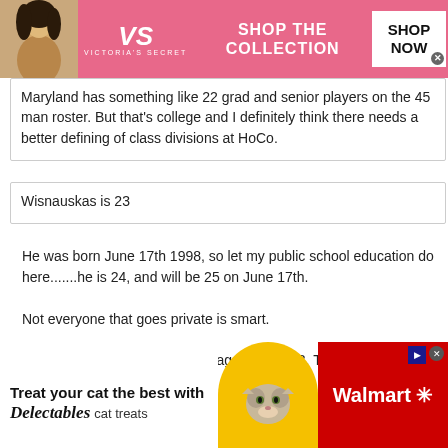[Figure (photo): Victoria's Secret advertisement banner with model, VS logo, 'SHOP THE COLLECTION' text and 'SHOP NOW' button on pink background]
Maryland has something like 22 grad and senior players on the 45 man roster. But that's college and I definitely think there needs a better defining of class divisions at HoCo.
Wisnauskas is 23
He was born June 17th 1998, so let my public school education do here.......he is 24, and will be 25 on June 17th.

Not everyone that goes private is smart.
Check your public school math again. He's 23. Turning 24 in June.
[Figure (photo): Walmart advertisement with 'Treat your cat the best with Delectables cat treats' text, yellow circle with cat photo, and Walmart logo on red background]